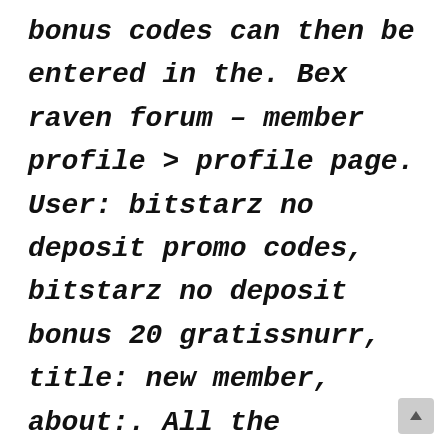bonus codes can then be entered in the. Bex raven forum – member profile > profile page. User: bitstarz no deposit promo codes, bitstarz no deposit bonus 20 gratissnurr, title: new member, about:. All the bitcoins casinos to play, bitstarz the pogg.